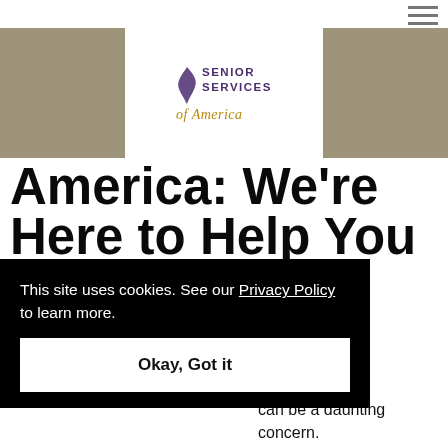[Figure (logo): Senior Services of America logo with leaf icon, purple text header and gold italic script 'America']
America: We’re Here to Help You Navigate Financial Resources for
can be a daunting concern.
This site uses cookies. See our Privacy Policy to learn more. Okay, Got it